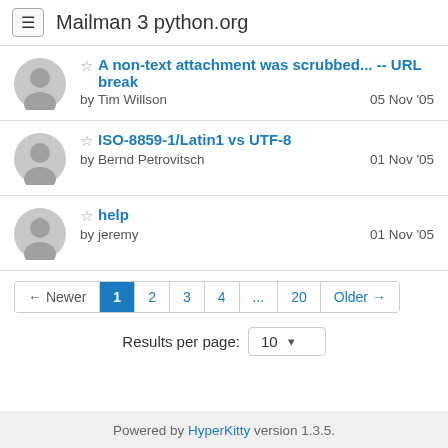Mailman 3 python.org
A non-text attachment was scrubbed... -- URL break by Tim Willson 05 Nov '05
ISO-8859-1/Latin1 vs UTF-8 by Bernd Petrovitsch 01 Nov '05
help by jeremy 01 Nov '05
← Newer 1 2 3 4 ... 20 Older →
Results per page: 10
Powered by HyperKitty version 1.3.5.